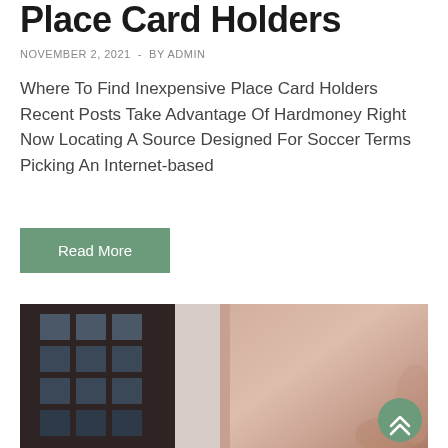Place Card Holders
NOVEMBER 2, 2021  -  BY ADMIN
Where To Find Inexpensive Place Card Holders Recent Posts Take Advantage Of Hardmoney Right Now Locating A Source Designed For Soccer Terms Picking An Internet-based
Read More
[Figure (photo): A close-up photo showing a person's hand against a background with what appears to be a window or architectural element on the left side.]